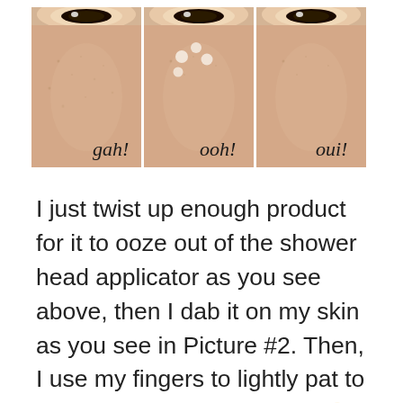[Figure (photo): Three side-by-side close-up photos of a person's cheek/under-eye area showing skin before, during (with dots of product applied), and after blending a cosmetic product. Each photo has a handwritten-style label: 'gah!', 'ooh!', and 'oui!' respectively.]
I just twist up enough product for it to ooze out of the shower head applicator as you see above, then I dab it on my skin as you see in Picture #2. Then, I use my fingers to lightly pat to blend and voila! Picture #3 🙂